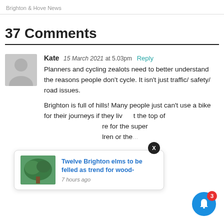Brighton & Hove News
37 Comments
Kate  15 March 2021  at 5.03pm  Reply
Planners and cycling zealots need to better understand the reasons people don't cycle. It isn't just traffic/ safety/ road issues.

Brighton is full of hills! Many people just can't use a bike for their journeys if they live at the top of ... are for the super ... dren or the ...
[Figure (screenshot): Popup card showing a news article thumbnail (a large tree) with title 'Twelve Brighton elms to be felled as trend for wood-' and timestamp '7 hours ago']